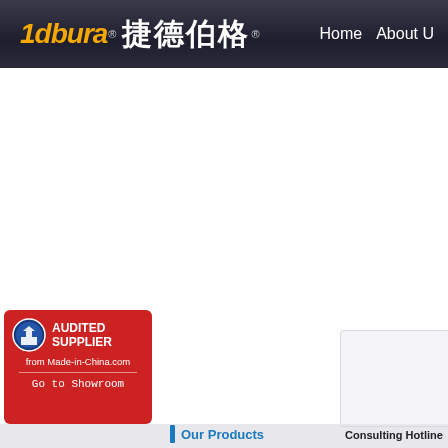1dbura ® 捷德伯格 ® — Home   About U
[Figure (logo): 1dbura brand logo with Chinese characters 捷德伯格, navigation links: Home, About U]
[Figure (infographic): Red badge: AUDITED SUPPLIER from Made-in-China.com — Go to Showroom]
QQ Online
Our Products
Consulting Hotline